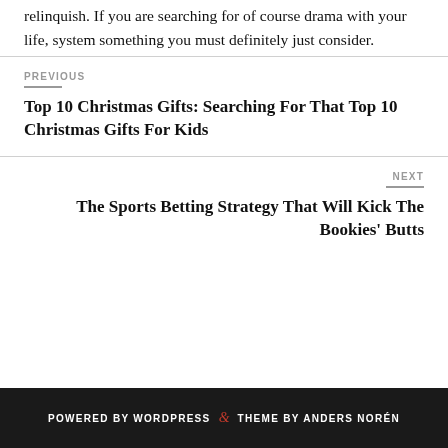relinquish. If you are searching for of course drama with your life, system something you must definitely just consider.
PREVIOUS
Top 10 Christmas Gifts: Searching For That Top 10 Christmas Gifts For Kids
NEXT
The Sports Betting Strategy That Will Kick The Bookies' Butts
POWERED BY WORDPRESS & THEME BY ANDERS NORÉN